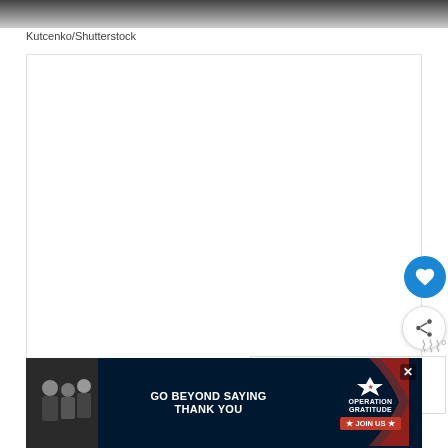[Figure (photo): Partial bottom edge of a grayscale photograph, showing a dark gradient strip at the top of the visible area]
Kutcenko/Shutterstock
[Figure (screenshot): Large white content area with heart (save) button and share button on the right side]
[Figure (infographic): WHAT'S NEXT panel showing thumbnail and text 'The 7 Main Door Lock...']
[Figure (photo): Advertisement banner: GO BEYOND SAYING THANK YOU - Operation Gratitude JOIN US]